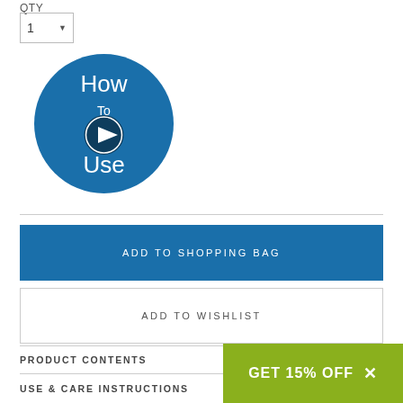QTY
1
[Figure (illustration): Blue circle with 'How To Use' text and a play button icon in the center]
ADD TO SHOPPING BAG
ADD TO WISHLIST
PRODUCT CONTENTS
USE & CARE INSTRUCTIONS
GET 15% OFF ×